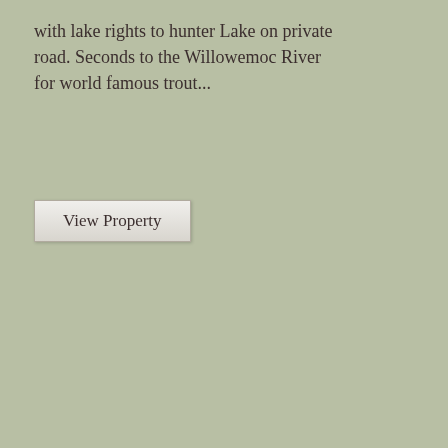with lake rights to hunter Lake on private road. Seconds to the Willowemoc River for world famous trout...
View Property